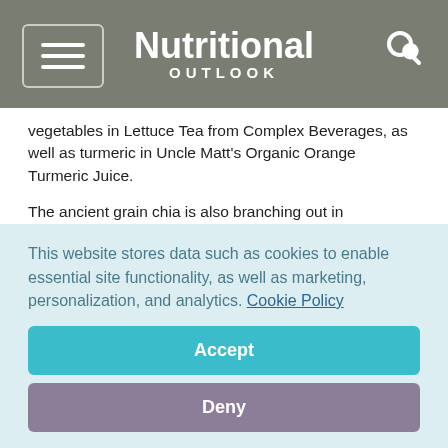Nutritional OUTLOOK
vegetables in Lettuce Tea from Complex Beverages, as well as turmeric in Uncle Matt's Organic Orange Turmeric Juice.
The ancient grain chia is also branching out in beverages. Most notably, the Mamma Chia food and drink brand recently extended its soft drink line, combining organic chia seeds with green vegetables such as kale, spinach, broccoli, spirulina, barley grass, and wheat grass. The products feature names like Joyful Greens, Grateful Greens, Love Greens, and Soulful Greens. All are non-GMO, gluten-free, vegan, and kosher, as well as organic.
This website stores data such as cookies to enable essential site functionality, as well as marketing, personalization, and analytics. Cookie Policy
Accept
Deny